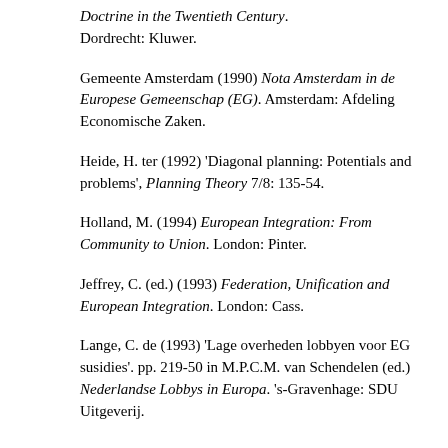Doctrine in the Twentieth Century. Dordrecht: Kluwer.
Gemeente Amsterdam (1990) Nota Amsterdam in de Europese Gemeenschap (EG). Amsterdam: Afdeling Economische Zaken.
Heide, H. ter (1992) 'Diagonal planning: Potentials and problems', Planning Theory 7/8: 135-54.
Holland, M. (1994) European Integration: From Community to Union. London: Pinter.
Jeffrey, C. (ed.) (1993) Federation, Unification and European Integration. London: Cass.
Lange, C. de (1993) 'Lage overheden lobbyen voor EG susidies'. pp. 219-50 in M.P.C.M. van Schendelen (ed.) Nederlandse Lobbys in Europa. 's-Gravenhage: SDU Uitgeverij.